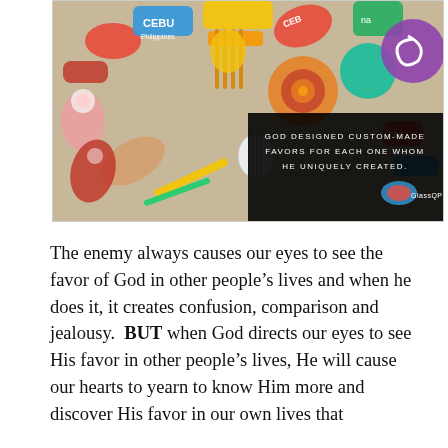[Figure (photo): A colorful pile of souvenir keychains and rubber/foam novelty items from Cebu, Philippines, with various shapes, colors and designs. A black overlay box in the lower right area contains white text reading: 'GOD DESIGNED CUSTOM-MADE FAVORS FOR EACH ONE WHOM HE UNIQUELY CREATED.' with a small logo.]
The enemy always causes our eyes to see the favor of God in other people’s lives and when he does it, it creates confusion, comparison and jealousy.  BUT when God directs our eyes to see His favor in other people’s lives, He will cause our hearts to yearn to know Him more and discover His favor in our own lives that